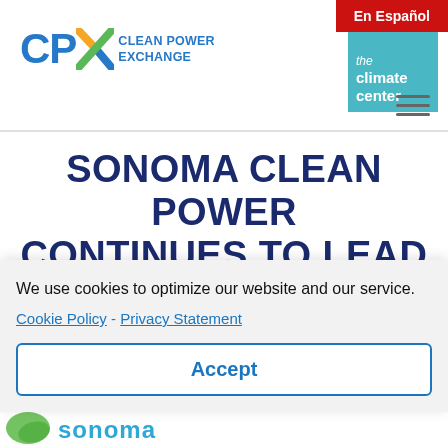En Español
[Figure (logo): CPX Clean Power Exchange logo with colorful X graphic and The Climate Center teal logo]
SONOMA CLEAN POWER CONTINUES TO LEAD THE WAY ON CLEAN POWER AND LOW RATES
We use cookies to optimize our website and our service.
Cookie Policy - Privacy Statement
Accept
[Figure (logo): Sonoma Clean Power logo at bottom of page]